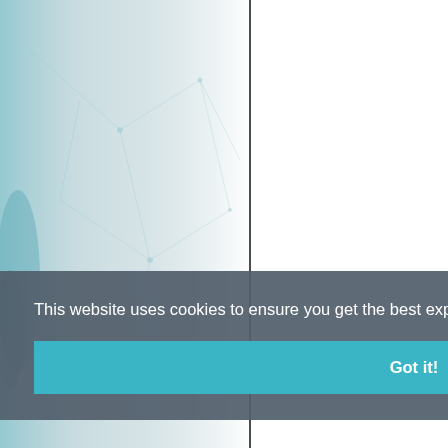[Figure (photo): Abstract background image with light blue/teal geometric network or wireframe pattern, fading from darker teal on the left edge to light gray/white. A vertical black line divides the image roughly in the middle. The right portion of the page is white.]
This website uses cookies to ensure you get the best experience on our website.
Got it!